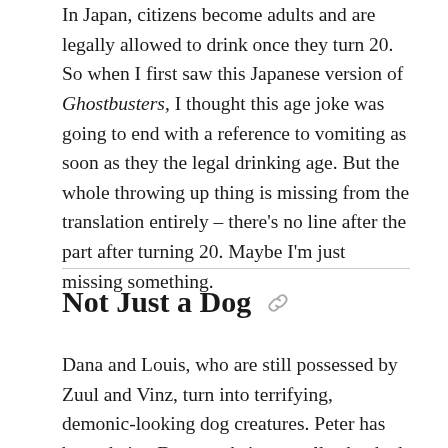In Japan, citizens become adults and are legally allowed to drink once they turn 20. So when I first saw this Japanese version of Ghostbusters, I thought this age joke was going to end with a reference to vomiting as soon as they the legal drinking age. But the whole throwing up thing is missing from the translation entirely – there's no line after the part after turning 20. Maybe I'm just missing something.
Not Just a Dog
Dana and Louis, who are still possessed by Zuul and Vinz, turn into terrifying, demonic-looking dog creatures. Peter has been dating Dana, so he's naturally shocked when he sees her transform.